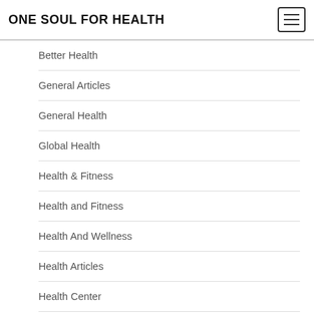ONE SOUL FOR HEALTH
Better Health
General Articles
General Health
Global Health
Health & Fitness
Health and Fitness
Health And Wellness
Health Articles
Health Center
Health Education